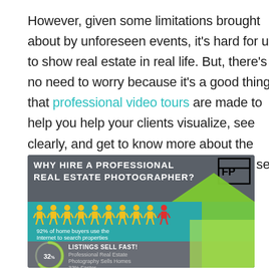However, given some limitations brought about by unforeseen events, it's hard for us to show real estate in real life. But, there's no need to worry because it's a good thing that professional video tours are made to help you help your clients visualize, see clearly, and get to know more about the commercial real estate that you want to sell.
[Figure (infographic): Infographic titled 'WHY HIRE A PROFESSIONAL REAL ESTATE PHOTOGRAPHER?' with teal and dark gray background. Shows 9 yellow person icons and 1 red person icon with text '92% of home buyers use the Internet to search properties'. Below shows a circular progress indicator with '32%' and text 'LISTINGS SELL FAST! Professional Real Estate Photography Sells Homes 32% Faster'. Green arrow graphic on the right side.]